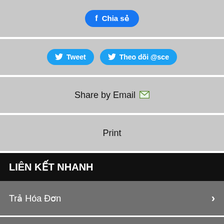[Figure (screenshot): Facebook share button (blue pill-shaped) labeled 'Chia sẻ' with Facebook icon]
[Figure (screenshot): Two Twitter buttons: 'Tweet' and 'Theo dõi @sce', both blue pill-shaped with Twitter bird icon]
Share by Email 📧
Print
LIÊN KẾT NHANH
Trả Hóa Đơn
Tắt/Mở Điện
Install Service/Local Planning